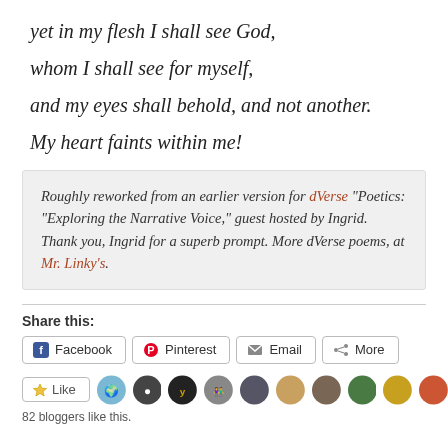yet in my flesh I shall see God,
whom I shall see for myself,
and my eyes shall behold, and not another.
My heart faints within me!
Roughly reworked from an earlier version for dVerse "Poetics: "Exploring the Narrative Voice," guest hosted by Ingrid. Thank you, Ingrid for a superb prompt. More dVerse poems, at Mr. Linky's.
Share this:
Facebook  Pinterest  Email  More
Like
82 bloggers like this.